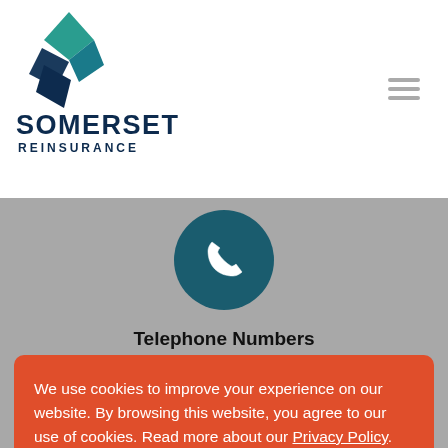[Figure (logo): Somerset Reinsurance logo with teal and dark blue diamond/arrow shapes and company name]
[Figure (illustration): Dark teal circle with white phone handset icon]
Telephone Numbers
Bermuda Telephone:
We use cookies to improve your experience on our website. By browsing this website, you agree to our use of cookies. Read more about our Privacy Policy.
I accept